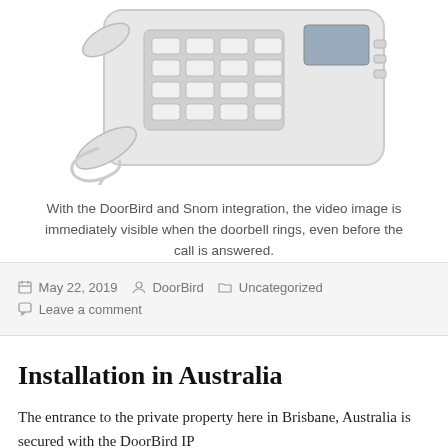[Figure (photo): Partial view of a white desktop IP phone (Snom brand) with handset and keypad, cropped at top]
With the DoorBird and Snom integration, the video image is immediately visible when the doorbell rings, even before the call is answered.
May 22, 2019   DoorBird   Uncategorized   Leave a comment
Installation in Australia
The entrance to the private property here in Brisbane, Australia is secured with the DoorBird IP